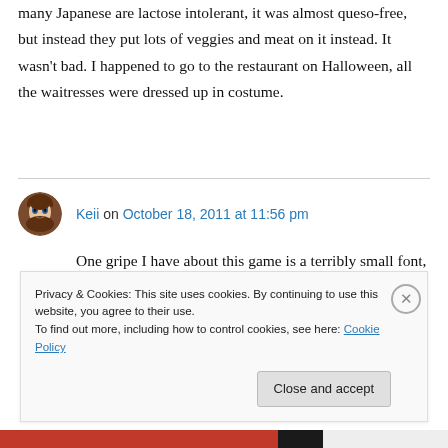many Japanese are lactose intolerant, it was almost queso-free, but instead they put lots of veggies and meat on it instead. It wasn't bad. I happened to go to the restaurant on Halloween, all the waitresses were dressed up in costume.
Keii on October 18, 2011 at 11:56 pm
One gripe I have about this game is a terribly small font, which is especially irritating when it comes to the Japanese text. I have a Japanese
Privacy & Cookies: This site uses cookies. By continuing to use this website, you agree to their use.
To find out more, including how to control cookies, see here: Cookie Policy